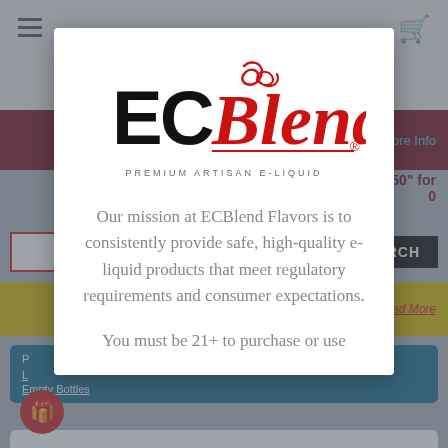[Figure (screenshot): Background webpage screenshot of ECBlend e-liquid website showing navigation bar, red banner, search bar, yellow promo bar, teal category block, and red gift button]
[Figure (logo): ECBlend Premium Artisan E-Liquid logo with stylized red script 'Blend' and black 'EC' text, with decorative swirl]
Our mission at ECBlend Flavors is to consistently provide safe, high-quality e-liquid products that meet regulatory requirements and consumer expectations.
You must be 21+ to purchase or use